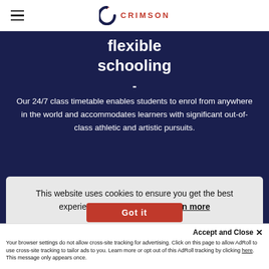≡  C CRIMSON
flexible schooling
-
Our 24/7 class timetable enables students to enrol from anywhere in the world and accommodates learners with significant out-of-class athletic and artistic pursuits.
This website uses cookies to ensure you get the best experience on our website.  Learn more
Accept and Close ✕
Your browser settings do not allow cross-site tracking for advertising. Click on this page to allow AdRoll to use cross-site tracking to tailor ads to you. Learn more or opt out of this AdRoll tracking by clicking here. This message only appears once.